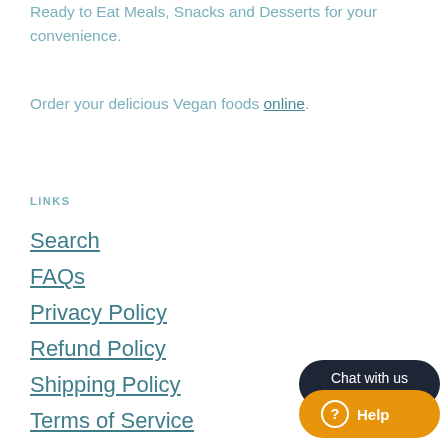Ready to Eat Meals, Snacks and Desserts for your convenience.
Order your delicious Vegan foods online.
LINKS
Search
FAQs
Privacy Policy
Refund Policy
Shipping Policy
Terms of Service
[Figure (other): Chat widget with dark rounded bubble saying 'Chat with us' and an orange pill button with question mark icon and 'Help' text]